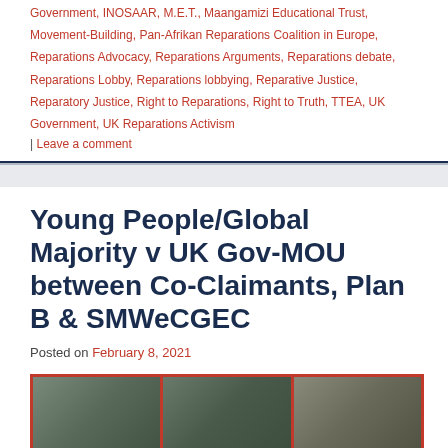Government, INOSAAR, M.E.T., Maangamizi Educational Trust, Movement-Building, Pan-Afrikan Reparations Coalition in Europe, Reparations Advocacy, Reparations Arguments, Reparations debate, Reparations Lobby, Reparations lobbying, Reparative Justice, Reparatory Justice, Right to Reparations, Right to Truth, TTEA, UK Government, UK Reparations Activism
| Leave a comment
Young People/Global Majority v UK Gov-MOU between Co-Claimants, Plan B & SMWeCGEC
Posted on February 8, 2021
[Figure (photo): Three portrait photos side by side with red border: Marina Tricks (left), Adetola Onamade (center), Jerry Amokwandoh (right), each with their name in bold red text overlaid on their photo]